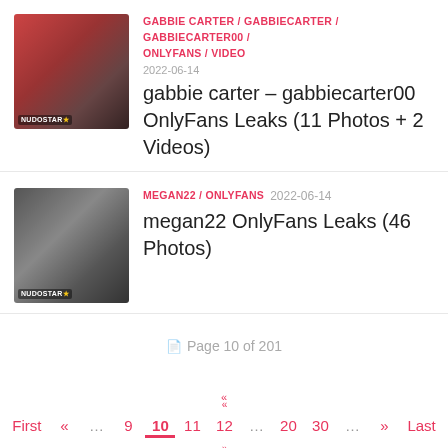[Figure (photo): Thumbnail image of Gabbie Carter with watermark NUDOSTAR]
GABBIE CARTER / GABBIECARTER / GABBIECARTER00 / ONLYFANS / VIDEO
2022-06-14
gabbie carter – gabbiecarter00 OnlyFans Leaks (11 Photos + 2 Videos)
[Figure (photo): Thumbnail image of Megan22 with watermark NUDOSTAR]
MEGAN22 / ONLYFANS  2022-06-14
megan22 OnlyFans Leaks (46 Photos)
Page 10 of 201
First « … 9 10 11 12 … 20 30 … » Last